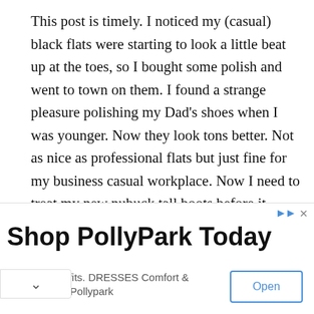This post is timely. I noticed my (casual) black flats were starting to look a little beat up at the toes, so I bought some polish and went to town on them. I found a strange pleasure polishing my Dad's shoes when I was younger. Now they look tons better. Not as nice as professional flats but just fine for my business casual workplace. Now I need to treat my new nubuck tall boots before it rains…
SEPTEMBER 26, 2012 / REPLY
AMY SAYS:
Can you recommend any flats that have a bit of a heel? I'm not looking for height, but I would like enough of a heel to keep the
[Figure (other): Advertisement banner for PollyPark with Open button]